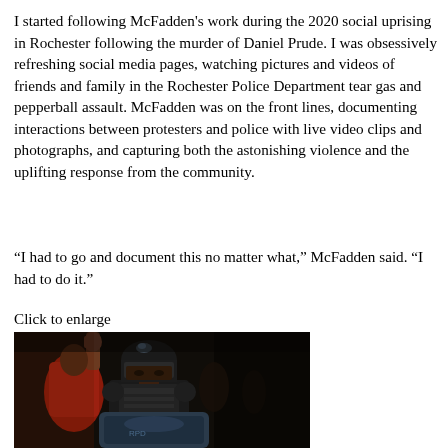I started following McFadden's work during the 2020 social uprising in Rochester following the murder of Daniel Prude. I was obsessively refreshing social media pages, watching pictures and videos of friends and family in the Rochester Police Department tear gas and pepperball assault. McFadden was on the front lines, documenting interactions between protesters and police with live video clips and photographs, and capturing both the astonishing violence and the uplifting response from the community.
“I had to go and document this no matter what,” McFadden said. “I had to do it.”
Click to enlarge
[Figure (photo): A dark nighttime protest scene. A police officer in riot gear (helmet, body armor, shield) faces the camera in the foreground. Behind the officer, a person in a red shirt raises their fist in the air. The overall scene is very dark with dramatic lighting.]